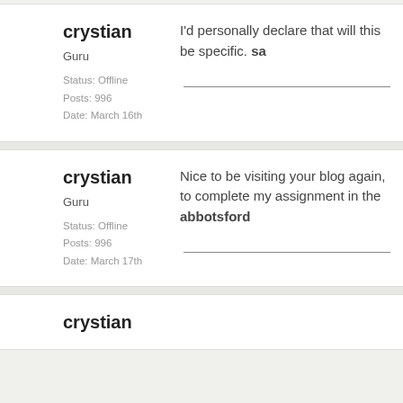crystian
Guru
Status: Offline
Posts: 996
Date: March 16th
I'd personally declare that will this be specific. sa
crystian
Guru
Status: Offline
Posts: 996
Date: March 17th
Nice to be visiting your blog again, to complete my assignment in the abbotsford
crystian